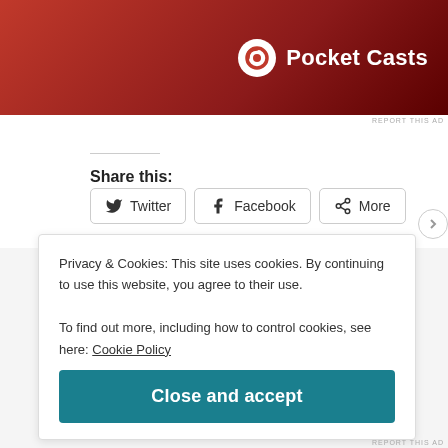[Figure (photo): Pocket Casts advertisement banner with red gradient background, showing a device and Pocket Casts logo with white text]
REPORT THIS AD
Share this:
Twitter  Facebook  More
Loading...
Privacy & Cookies: This site uses cookies. By continuing to use this website, you agree to their use. To find out more, including how to control cookies, see here: Cookie Policy
Close and accept
REPORT THIS AD